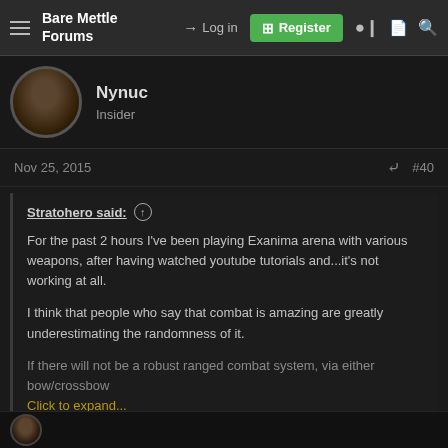Bare Mettle Forums — Log in | Register
Nynuc
Insider
Nov 25, 2015  #40
Stratohero said:
For the past 2 hours I've been playing Exanima arena with various weapons, after having watched youtube tutorials and...it's not working at all.

I think that people who say that combat is amazing are greatly underestimating the randomness of it.

If there will not be a robust ranged combat system, via either bow/crossbow [Click to expand...]
>randomness